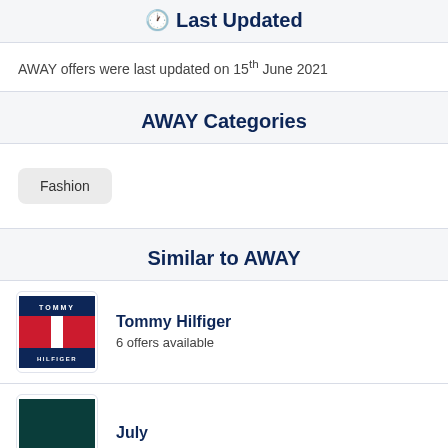🕐 Last Updated
AWAY offers were last updated on 15th June 2021
AWAY Categories
Fashion
Similar to AWAY
[Figure (logo): Tommy Hilfiger logo with red, white, and blue flag design]
Tommy Hilfiger
6 offers available
[Figure (logo): July brand logo with dark teal/green background]